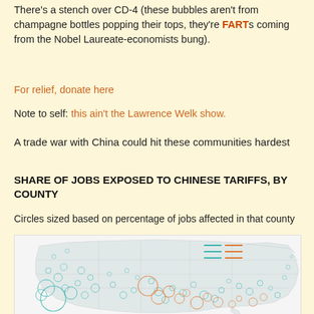There's a stench over CD-4 (these bubbles aren't from champagne bottles popping their tops, they're FARTs coming from the Nobel Laureate-economists bung).
For relief, donate here
Note to self: this ain't the Lawrence Welk show.
A trade war with China could hit these communities hardest
SHARE OF JOBS EXPOSED TO CHINESE TARIFFS, BY COUNTY
Circles sized based on percentage of jobs affected in that county
[Figure (map): Bubble map of the United States showing share of jobs exposed to Chinese tariffs by county. Circles are sized by percentage of jobs affected, colored in teal/cyan (one category) and orange (another category). A legend in the upper right shows two colored line/symbol series.]